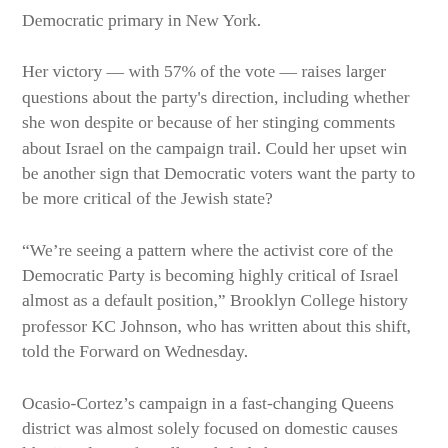Democratic primary in New York.
Her victory — with 57% of the vote — raises larger questions about the party's direction, including whether she won despite or because of her stinging comments about Israel on the campaign trail. Could her upset win be another sign that Democratic voters want the party to be more critical of the Jewish state?
“We’re seeing a pattern where the activist core of the Democratic Party is becoming highly critical of Israel almost as a default position,” Brooklyn College history professor KC Johnson, who has written about this shift, told the Forward on Wednesday.
Ocasio-Cortez’s campaign in a fast-changing Queens district was almost solely focused on domestic causes like “Medicare-for-All” and abolishing U.S. Immigration and Customs Enforcement. Her campaign website doesn’t